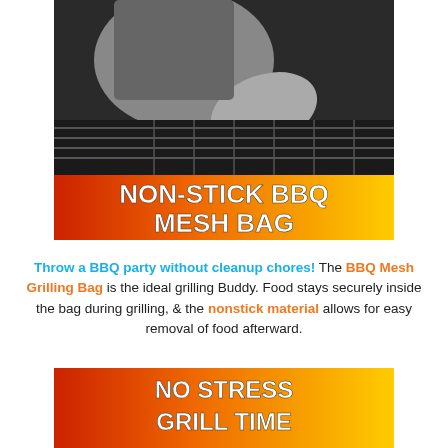[Figure (photo): Black and white photo of a person placing food on a grill, with an orange-to-yellow gradient banner at the bottom reading 'NON-STICK BBQ MESH BAG' in bold white text]
Throw a BBQ party without cleanup chores! The BBQ Mesh Grilling Bag is the ideal grilling Buddy. Food stays securely inside the bag during grilling, & the nonstick material allows for easy removal of food afterward.
[Figure (infographic): Orange-to-yellow gradient banner with bold white text reading 'NO STRESS GRILL TIME']